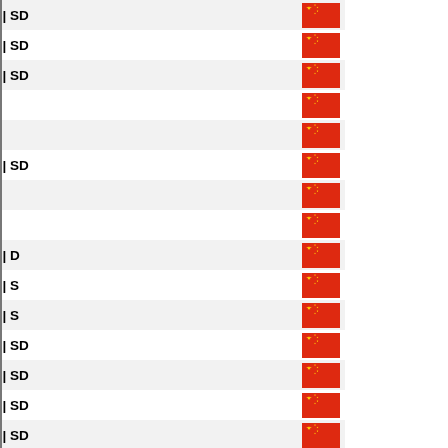| IP Address | Flag |
| --- | --- |
| 114.105.81.169 | SD | CN |
| 114.105.81.170 | SD | CN |
| 114.105.81.171 | SD | CN |
| 114.105.81.172 | CN |
| 114.105.81.174 | CN |
| 114.105.81.177 | SD | CN |
| 114.105.81.180 | CN |
| 114.105.81.181 | CN |
| 114.105.81.183 | D | CN |
| 114.105.81.184 | S | CN |
| 114.105.81.185 | S | CN |
| 114.105.81.188 | SD | CN |
| 114.105.81.192 | SD | CN |
| 114.105.81.193 | SD | CN |
| 114.105.81.194 | SD | CN |
| 114.105.81.197 | SD | CN |
| 114.105.81.198 | SD | CN |
| 114.105.81.199 | SD | CN |
| 114.105.81.202 | S | CN |
| 114.105.81.203 | SD | CN |
| 114.105.81.204 | SD | CN |
| 114.105.81.205 | SD | CN |
| 114.105.81.211 | SD | CN |
| 114.105.81.213 | SD | CN |
| 114.105.81.220 | SD | CN |
| 114.105.81.221 | SD | CN |